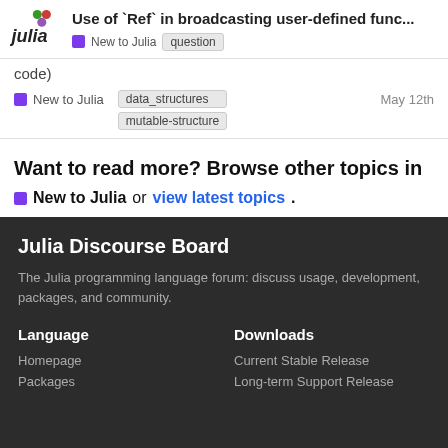Use of `Ref` in broadcasting user-defined func... | New to Julia | question
code)
New to Julia | data_structures | mutable-structure | May 12th
Want to read more? Browse other topics in
New to Julia or view latest topics.
Julia Discourse Board
The Julia programming language forum: discuss usage, development, packages, and community.
Language
Downloads
Homepage
Current Stable Release
Packages
Long-term Support Release